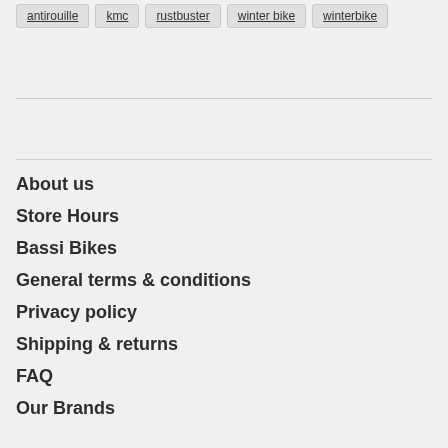antirouille
kmc
rustbuster
winter bike
winterbike
About us
Store Hours
Bassi Bikes
General terms & conditions
Privacy policy
Shipping & returns
FAQ
Our Brands